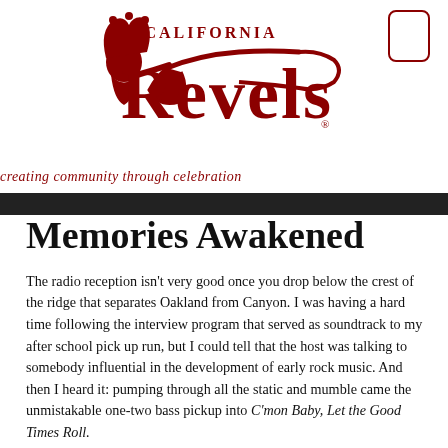[Figure (logo): California Revels logo with decorative red jester/figure and trumpet, text reading CALIFORNIA REVELS with registered trademark symbol]
creating community through celebration
Memories Awakened
The radio reception isn't very good once you drop below the crest of the ridge that separates Oakland from Canyon. I was having a hard time following the interview program that served as soundtrack to my after school pick up run, but I could tell that the host was talking to somebody influential in the development of early rock music. And then I heard it: pumping through all the static and mumble came the unmistakable one-two bass pickup into C'mon Baby, Let the Good Times Roll.
Only I wasn't sure just who was singing it. The song has been covered so many times by so many different performers that